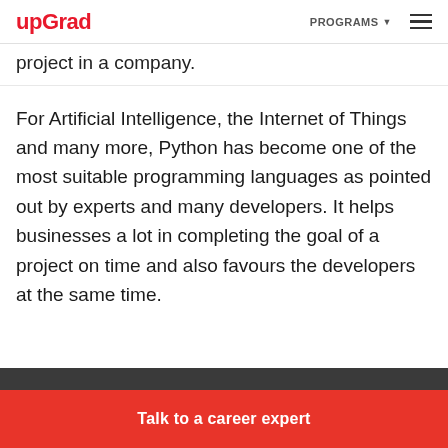upGrad | PROGRAMS
project in a company.
For Artificial Intelligence, the Internet of Things and many more, Python has become one of the most suitable programming languages as pointed out by experts and many developers. It helps businesses a lot in completing the goal of a project on time and also favours the developers at the same time.
Talk to a career expert